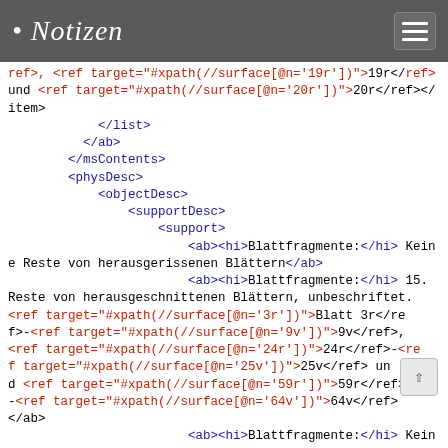Notizen
ref>, <ref target="#xpath(//surface[@n='19r']">19r</ref> und <ref target="#xpath(//surface[@n='20r'])">20r</ref></item>
                </list>
            </ab>
        </msContents>
        <physDesc>
            <objectDesc>
                <supportDesc>
                    <support>
                        <ab><hi>Blattfragmente:</hi> Keine Reste von herausgerissenen Blättern</ab>
                        <ab><hi>Blattfragmente:</hi> 15. Reste von herausgeschnittenen Blättern, unbeschriftet. <ref target="#xpath(//surface[@n='3r'])">Blatt 3r</ref>-<ref target="#xpath(//surface[@n='9v'])">9v</ref>, <ref target="#xpath(//surface[@n='24r'])">24r</ref>-<ref target="#xpath(//surface[@n='25v'])">25v</ref> und <ref target="#xpath(//surface[@n='59r'])">59r</ref>-<ref target="#xpath(//surface[@n='64v'])">64v</ref></ab>
                        <ab><hi>Blattfragmente:</hi> Keine Reste von herausgerissenen und -geschnittenen Blätter n</ab>